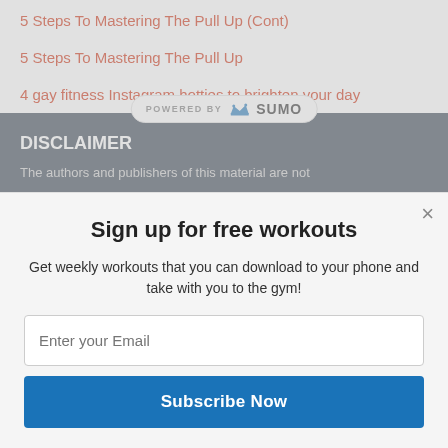5 Steps To Mastering The Pull Up (Cont)
5 Steps To Mastering The Pull Up
4 gay fitness Instagram hotties to brighten your day
DISCLAIMER
The authors and publishers of this material are not
[Figure (logo): Powered by Sumo badge with crown logo]
Sign up for free workouts
Get weekly workouts that you can download to your phone and take with you to the gym!
Enter your Email
Subscribe Now